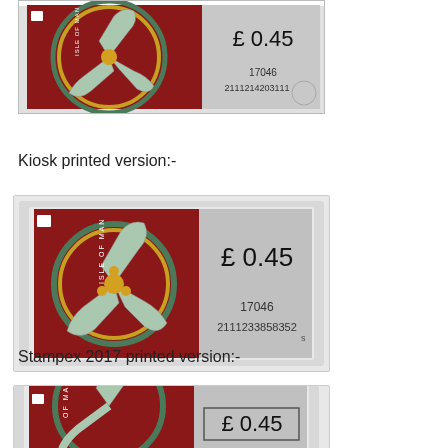[Figure (photo): Isle of Man stamp showing Triskelion design on red background, £0.45, serial number 17046 / 2111214203111, cropped at top]
Kiosk printed version:-
[Figure (photo): Isle of Man stamp kiosk printed version showing Triskelion design on red background, £0.45, serial number 17046 / 2111233858352]
Stampex 2017 printed version:-
[Figure (photo): Isle of Man stamp Stampex 2017 printed version showing Triskelion design, £0.45, partially visible]